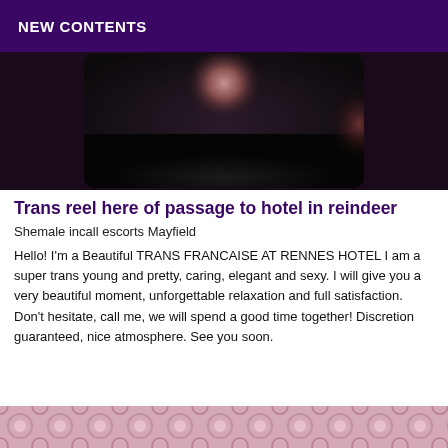NEW CONTENTS
[Figure (photo): Dark photo of a person against a dark background, cropped at the shoulders/chest area]
Trans reel here of passage to hotel in reindeer
Shemale incall escorts Mayfield
Hello! I'm a Beautiful TRANS FRANCAISE AT RENNES HOTEL I am a super trans young and pretty, caring, elegant and sexy. I will give you a very beautiful moment, unforgettable relaxation and full satisfaction. Don't hesitate, call me, we will spend a good time together! Discretion guaranteed, nice atmosphere. See you soon.
[Figure (photo): Partially visible floral/decorative pattern photo at the bottom of the page]